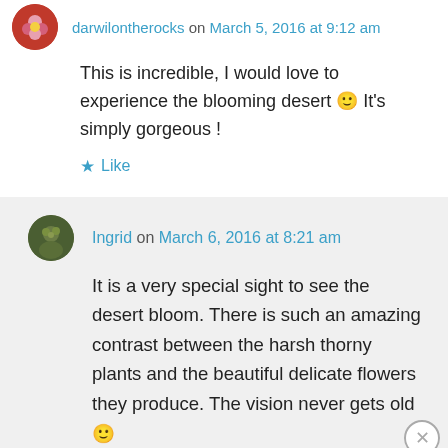darwilontherocks on March 5, 2016 at 9:12 am
This is incredible, I would love to experience the blooming desert 🙂 It's simply gorgeous !
★ Like
Ingrid on March 6, 2016 at 8:21 am
It is a very special sight to see the desert bloom. There is such an amazing contrast between the harsh thorny plants and the beautiful delicate flowers they produce. The vision never gets old 🙂
Advertisements